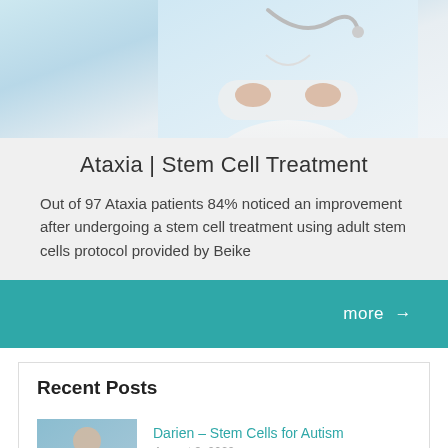[Figure (photo): Doctor in white coat with stethoscope, arms crossed, cropped medical professional photo with light blue background]
Ataxia | Stem Cell Treatment
Out of 97 Ataxia patients 84% noticed an improvement after undergoing a stem cell treatment using adult stem cells protocol provided by Beike
more →
Recent Posts
[Figure (photo): Child being comforted or examined, medical setting thumbnail image]
Darien – Stem Cells for Autism
August 3, 2022